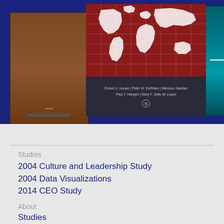[Figure (photo): Three books displayed against a dark navy blue background. Left book is brown/orange colored with text about Africa. Center book features a dark red world map on the cover with author names 'Robert J. House | Peter W. Dorfman | Mansour Javidan, Paul J. Hanges | Mary F. Sully de Luque' on a dark background. Right book is teal/blue with author names 'R.J. House, J. Hanges, ur Javidan, W. Dorfman, Vipin Gupta'.]
Studies
2004 Culture and Leadership Study
2004 Data Visualizations
2014 CEO Study
About
Studies